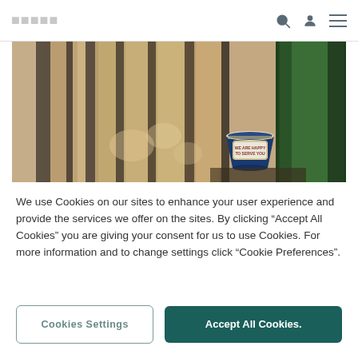Cookies Settings | Accept All Cookies.
[Figure (photo): Photo of a blue 'We Are Happy To Serve You' paper coffee cup resting near a green pole, with motion-blurred metro/subway train car panels in the background.]
We use Cookies on our sites to enhance your user experience and provide the services we offer on the sites. By clicking “Accept All Cookies” you are giving your consent for us to use Cookies. For more information and to change settings click “Cookie Preferences”.
Cookies Settings
Accept All Cookies.